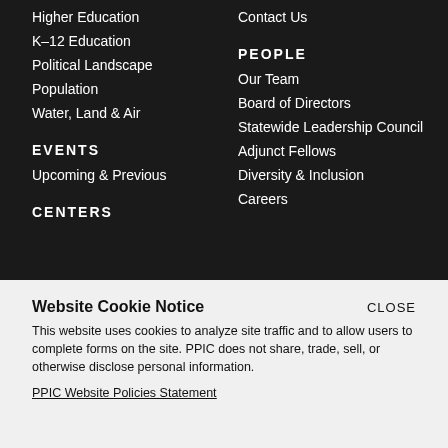Higher Education
K–12 Education
Political Landscape
Population
Water, Land & Air
EVENTS
Upcoming & Previous
CENTERS
Contact Us
PEOPLE
Our Team
Board of Directors
Statewide Leadership Council
Adjunct Fellows
Diversity & Inclusion
Careers
Website Cookie Notice
This website uses cookies to analyze site traffic and to allow users to complete forms on the site. PPIC does not share, trade, sell, or otherwise disclose personal information.
PPIC Website Policies Statement